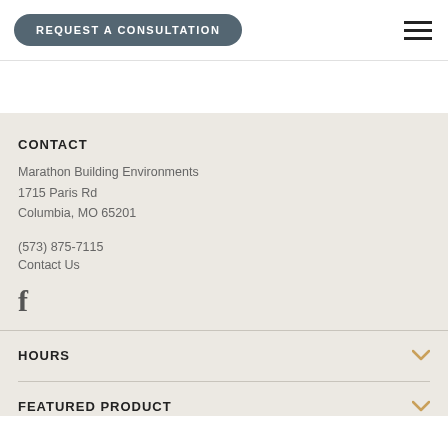REQUEST A CONSULTATION
CONTACT
Marathon Building Environments
1715 Paris Rd
Columbia, MO 65201
(573) 875-7115
Contact Us
[Figure (logo): Facebook icon (f)]
HOURS
FEATURED PRODUCT